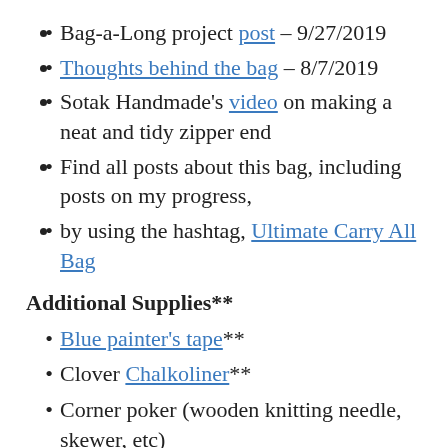Bag-a-Long project post – 9/27/2019
Thoughts behind the bag – 8/7/2019
Sotak Handmade's video on making a neat and tidy zipper end
Find all posts about this bag, including posts on my progress,
by using the hashtag, Ultimate Carry All Bag
Additional Supplies**
Blue painter's tape**
Clover Chalkoliner**
Corner poker (wooden knitting needle, skewer, etc)
Creative Grids 4.5″ x 8.5″ ruler**
Double-fold elastic (or twill tape)